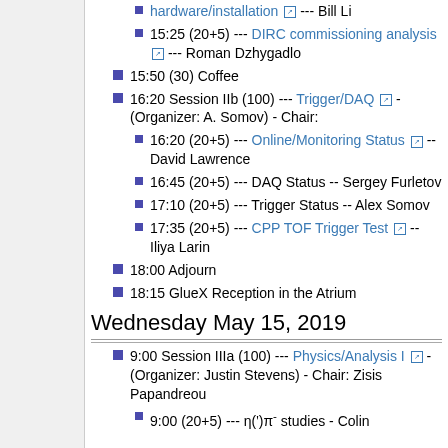hardware/installation --- Bill Li
15:25 (20+5) --- DIRC commissioning analysis --- Roman Dzhygadlo
15:50 (30) Coffee
16:20 Session IIb (100) --- Trigger/DAQ - (Organizer: A. Somov) - Chair:
16:20 (20+5) --- Online/Monitoring Status -- David Lawrence
16:45 (20+5) --- DAQ Status -- Sergey Furletov
17:10 (20+5) --- Trigger Status -- Alex Somov
17:35 (20+5) --- CPP TOF Trigger Test -- Iliya Larin
18:00 Adjourn
18:15 GlueX Reception in the Atrium
Wednesday May 15, 2019
9:00 Session IIIa (100) --- Physics/Analysis I - (Organizer: Justin Stevens) - Chair: Zisis Papandreou
9:00 (20+5) --- η(')π⁻ studies - Colin